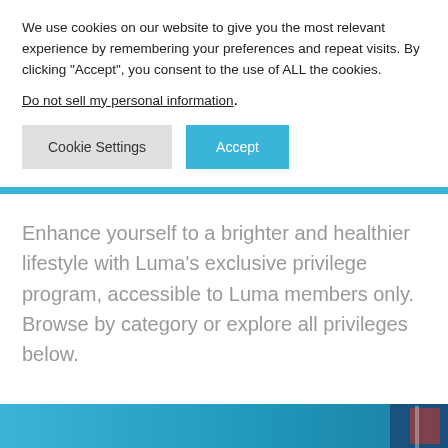We use cookies on our website to give you the most relevant experience by remembering your preferences and repeat visits. By clicking "Accept", you consent to the use of ALL the cookies.
Do not sell my personal information.
Cookie Settings
Accept
Enhance yourself to a brighter and healthier lifestyle with Luma's exclusive privilege program, accessible to Luma members only.
Browse by category or explore all privileges below.
[Figure (photo): Partial view of a blue-toned banner/image at the bottom of the page]